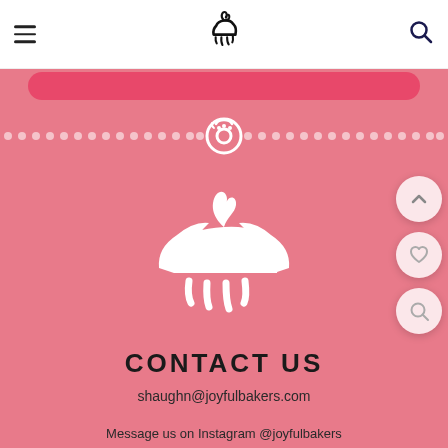[Figure (logo): Bakery website navigation bar with hamburger menu, cupcake logo, and search icon on white background]
[Figure (illustration): Pink background section with dotted horizontal divider line centered on a donut icon, large white cupcake/bakery logo in center]
CONTACT US
shaughn@joyfulbakers.com
Message us on Instagram @joyfulbakers